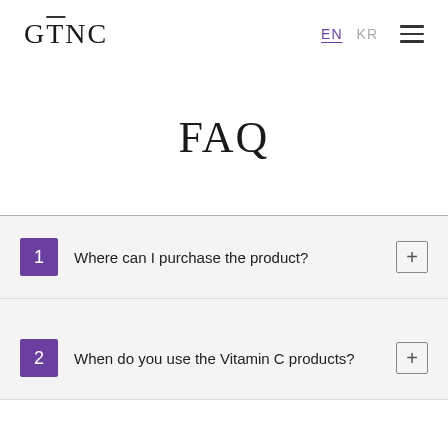GTNC   EN   KR
FAQ
1  Where can I purchase the product?
2  When do you use the Vitamin C products?